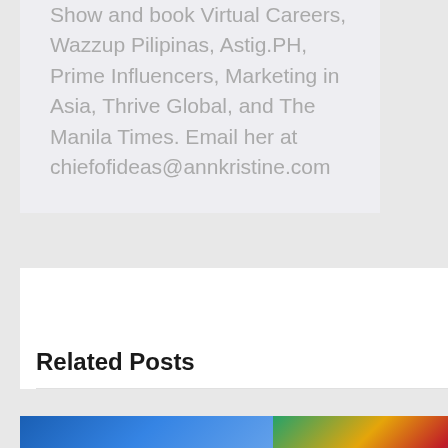Show and book Virtual Careers, Wazzup Pilipinas, Astig.PH, Prime Influencers, Marketing in Asia, Thrive Global, and The Manila Times. Email her at chiefofideas@annkristine.com
Related Posts
[Figure (photo): Thumbnail images for related posts — blue image, colorful image, dark image]